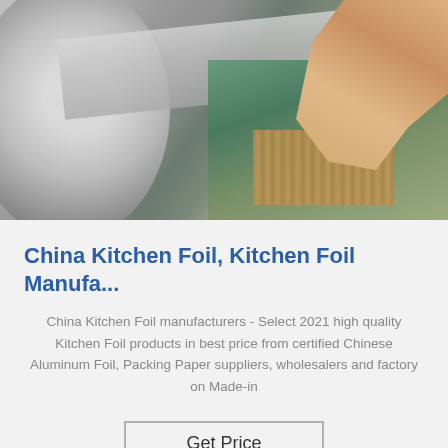[Figure (photo): Photo of aluminum kitchen foil being unrolled, showing a large foil roll on the left, a hand peeling off foil sheets on the right, a green surface and burlap material underneath]
China Kitchen Foil, Kitchen Foil Manufa...
China Kitchen Foil manufacturers - Select 2021 high quality Kitchen Foil products in best price from certified Chinese Aluminum Foil, Packing Paper suppliers, wholesalers and factory on Made-in
Get Price